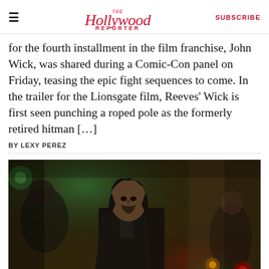The Hollywood Reporter | SUBSCRIBE
for the fourth installment in the film franchise, John Wick, was shared during a Comic-Con panel on Friday, teasing the epic fight sequences to come. In the trailer for the Lionsgate film, Reeves’ Wick is first seen punching a roped pole as the formerly retired hitman […]
BY LEXY PEREZ
[Figure (photo): Keanu Reeves as John Wick in a dark suit, looking intense in a dimly lit scene with green and red ambient lighting, surrounded by other figures in the background.]